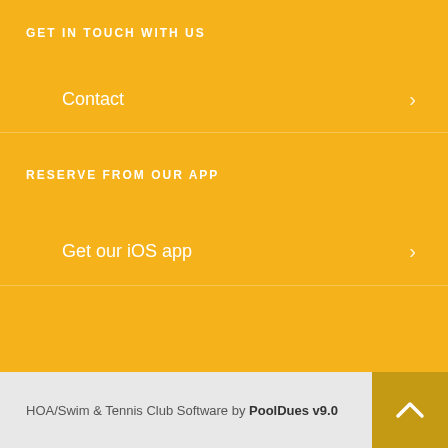GET IN TOUCH WITH US
Contact
RESERVE FROM OUR APP
Get our iOS app
HOA/Swim & Tennis Club Software by PoolDues v9.0